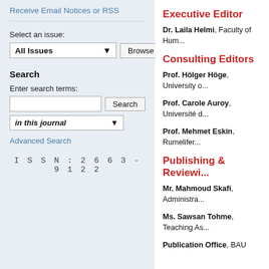Receive Email Notices or RSS
Select an issue:
All Issues  ▼  Browse
Search
Enter search terms:
in this journal  ▼
Advanced Search
ISSN: 2663-9122
Executive Editor
Dr. Laila Helmi, Faculty of Hum...
Consulting Editors
Prof. Hölger Höge, University o...
Prof. Carole Auroy, Université d...
Prof. Mehmet Eskin, Rumelifer...
Publishing & Reviewi...
Mr. Mahmoud Skafi, Administra...
Ms. Sawsan Tohme, Teaching As...
Publication Office, BAU